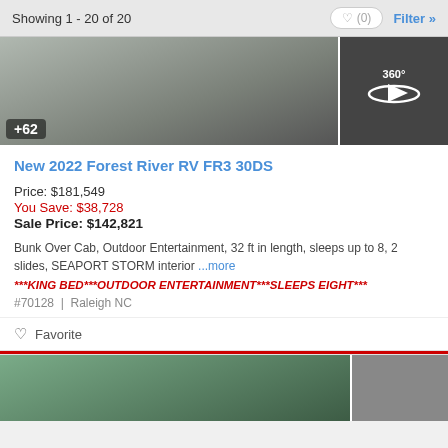Showing 1 - 20 of 20
[Figure (photo): RV listing photo showing a motorhome with +62 badge overlay and a 360-degree view thumbnail]
New 2022 Forest River RV FR3 30DS
Price: $181,549
You Save: $38,728
Sale Price: $142,821
Bunk Over Cab, Outdoor Entertainment, 32 ft in length, sleeps up to 8, 2 slides, SEAPORT STORM interior ...more
***KING BED***OUTDOOR ENTERTAINMENT***SLEEPS EIGHT***
#70128 | Raleigh NC
Favorite
[Figure (photo): Second RV listing photo partially visible at bottom of page]